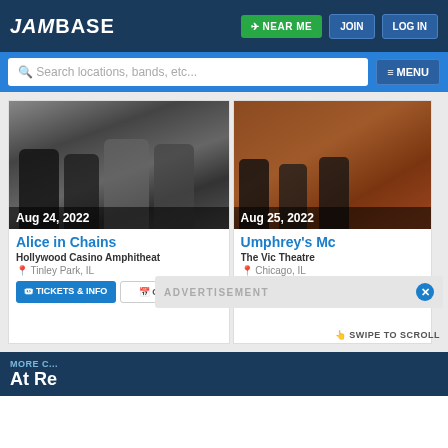JamBase — NEAR ME | JOIN | LOG IN
Search locations, bands, etc...  ≡ MENU
[Figure (photo): Black and white photo of Alice in Chains band members outdoors with date badge 'Aug 24, 2022']
Alice in Chains
Hollywood Casino Amphitheat
Tinley Park, IL
TICKETS & INFO
CALENDAR
[Figure (photo): Color photo of Umphrey's McGee band members sitting against a brick wall with date badge 'Aug 25, 2022']
Umphrey's Mc
The Vic Theatre
Chicago, IL
TICKETS & INFO
SWIPE TO SCROLL
ADVERTISEMENT
MORE C... At Re...